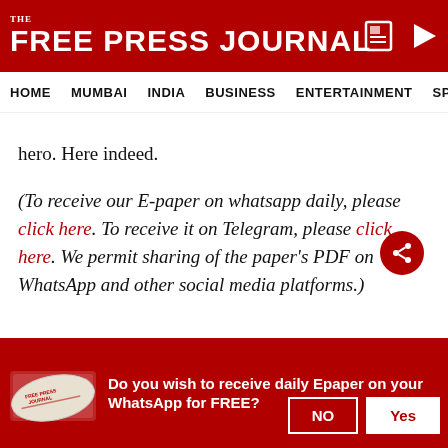THE FREE PRESS JOURNAL
HOME | MUMBAI | INDIA | BUSINESS | ENTERTAINMENT | SPO...
hero. Here indeed.
(To receive our E-paper on whatsapp daily, please click here. To receive it on Telegram, please click here. We permit sharing of the paper's PDF on WhatsApp and other social media platforms.)
Do you wish to receive daily Epaper on your WhatsApp for FREE?